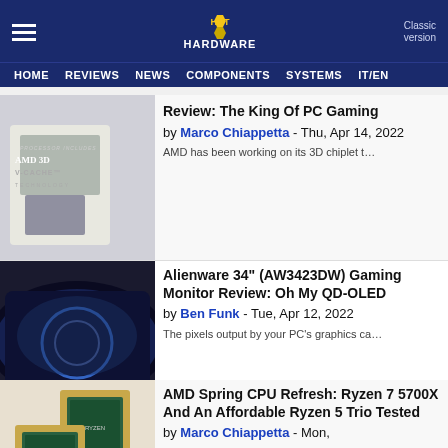HotHardware - HOME REVIEWS NEWS COMPONENTS SYSTEMS IT/EN
[Figure (photo): AMD processor with 3D V-Cache Technology label]
Review: The King Of PC Gaming by Marco Chiappetta - Thu, Apr 14, 2022
AMD has been working on its 3D chiplet t…
[Figure (photo): Alienware 34 inch curved QD-OLED gaming monitor]
Alienware 34" (AW3423DW) Gaming Monitor Review: Oh My QD-OLED by Ben Funk - Tue, Apr 12, 2022
The pixels output by your PC's graphics ca…
[Figure (photo): AMD Ryzen CPU chips on surface]
AMD Spring CPU Refresh: Ryzen 7 5700X And An Affordable Ryzen 5 Trio Tested by Marco Chiappetta - Mon,